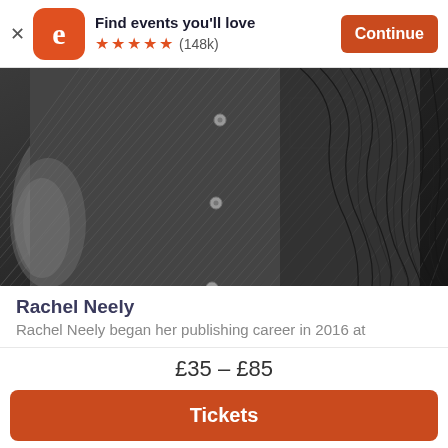Find events you'll love ★★★★★ (148k) Continue
[Figure (photo): Black and white close-up photo of a person wearing a striped/textured button-up shirt, torso visible with arm to the side]
Rachel Neely
Rachel Neely began her publishing career in 2016 at
£35 – £85
Tickets